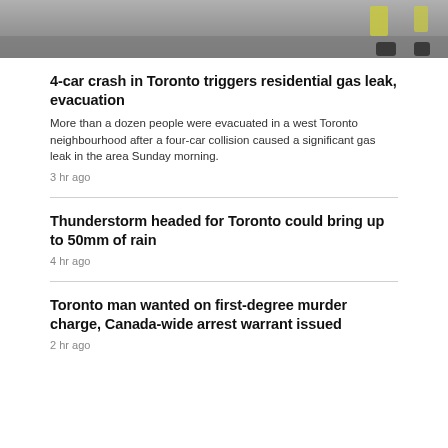[Figure (photo): Top portion of a news article page showing the bottom of a photo, likely taken on a road with workers in high-visibility vests visible at feet level.]
4-car crash in Toronto triggers residential gas leak, evacuation
More than a dozen people were evacuated in a west Toronto neighbourhood after a four-car collision caused a significant gas leak in the area Sunday morning.
3 hr ago
Thunderstorm headed for Toronto could bring up to 50mm of rain
4 hr ago
Toronto man wanted on first-degree murder charge, Canada-wide arrest warrant issued
2 hr ago